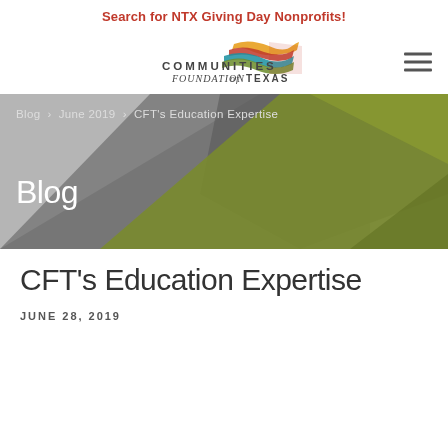Search for NTX Giving Day Nonprofits!
[Figure (logo): Communities Foundation of Texas logo with colorful wave graphic and organization name]
[Figure (illustration): Banner with geometric shapes in grey and olive/green tones, showing breadcrumb navigation 'Blog > June 2019 > CFT's Education Expertise' and 'Blog' heading]
CFT's Education Expertise
JUNE 28, 2019